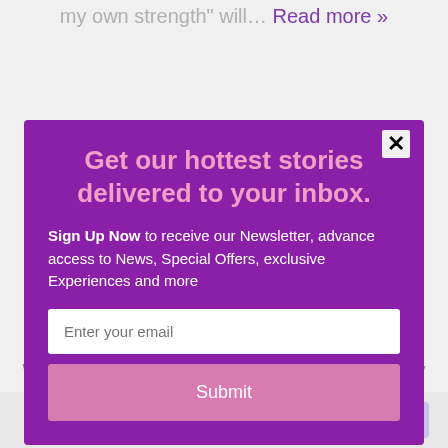my own strength" will… Read more »
[Figure (screenshot): Newsletter signup modal popup with purple background. Contains title 'Get our hottest stories delivered to your inbox.', body text about signing up, email input field, and submit button. Close button (×) in top right. Background shows dimmed article text.]
We'll assume you're ok with this, but you can opt-out if
powered by MailMunch